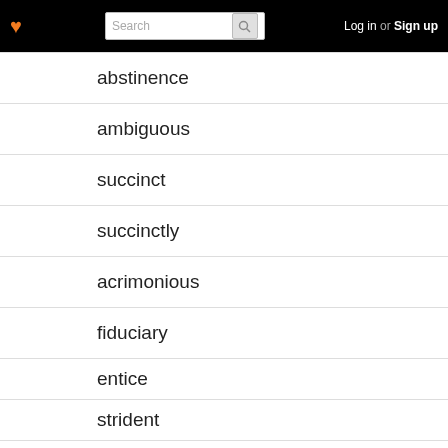Log in or Sign up
abstinence
ambiguous
succinct
succinctly
acrimonious
fiduciary
entice
strident
implicit